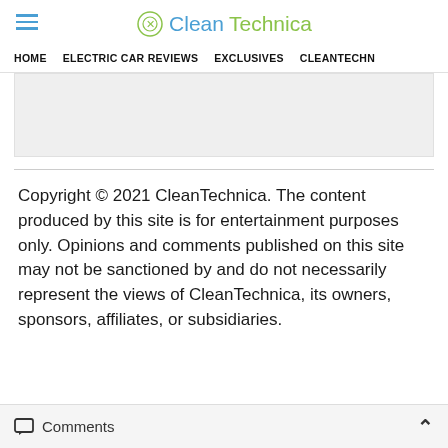CleanTechnica
HOME | ELECTRIC CAR REVIEWS | EXCLUSIVES | CLEANTECHN
[Figure (other): Gray advertisement banner placeholder]
Copyright © 2021 CleanTechnica. The content produced by this site is for entertainment purposes only. Opinions and comments published on this site may not be sanctioned by and do not necessarily represent the views of CleanTechnica, its owners, sponsors, affiliates, or subsidiaries.
Comments